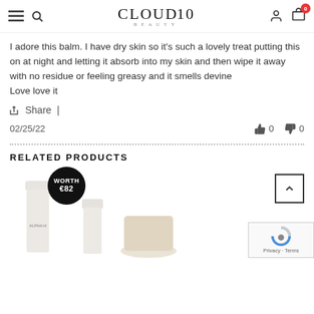CLOUD10 BEAUTY
I adore this balm. I have dry skin so it's such a lovely treat putting this on at night and letting it absorb into my skin and then wipe it away with no residue or feeling greasy and it smells devine
Love love it
Share |
02/25/22  👍 0  👎 0
RELATED PRODUCTS
[Figure (photo): Product image of ALPHA-H skincare tube, a second white cylinder product, and a third product partially visible, with a 'WORTH €82' badge.]